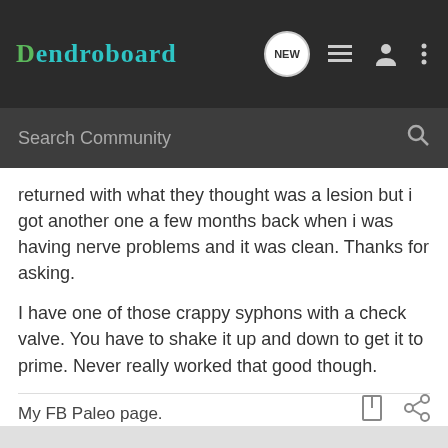Dendroboard
returned with what they thought was a lesion but i got another one a few months back when i was having nerve problems and it was clean. Thanks for asking.

I have one of those crappy syphons with a check valve. You have to shake it up and down to get it to prime. Never really worked that good though.
My FB Paleo page. http://www.facebook.com/PracticallyPrimal
curlykid